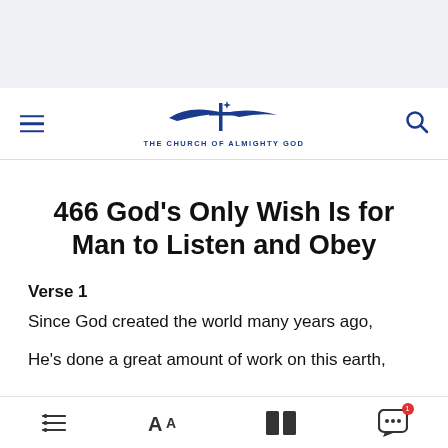[Figure (logo): The Church of Almighty God logo with stylized cross and swoosh, and text 'THE CHURCH OF ALMIGHTY GOD']
466 God's Only Wish Is for Man to Listen and Obey
Verse 1
Since God created the world many years ago,
He's done a great amount of work on this earth,